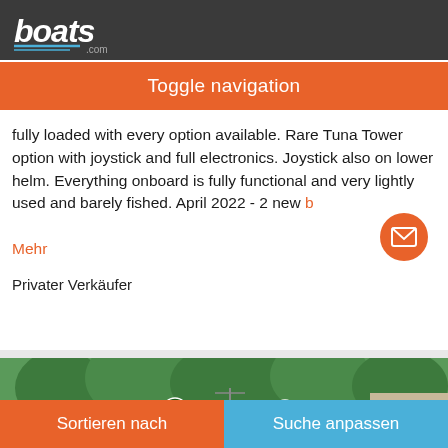boats.com
Toggle navigation
fully loaded with every option available.  Rare Tuna Tower option with joystick and full electronics. Joystick also on lower helm. Everything onboard is fully functional and very lightly used and barely fished.  April 2022 - 2 new b
Mehr
Privater Verkäufer
[Figure (photo): A boat docked at a marina with green canopy covers overhead, trees in background, photo count badge showing 25 photos]
Sortieren nach | Suche anpassen